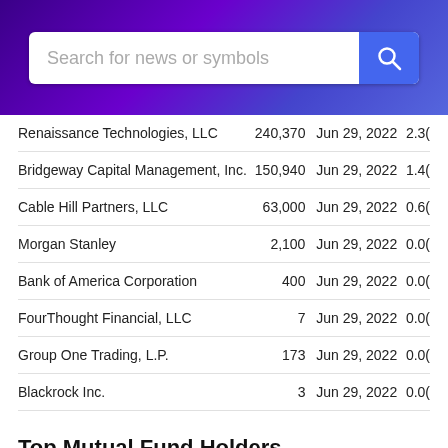[Figure (screenshot): Search bar with purple gradient background and blue search button]
| Holder | Shares | Date | % |
| --- | --- | --- | --- |
| Renaissance Technologies, LLC | 240,370 | Jun 29, 2022 | 2.3( |
| Bridgeway Capital Management, Inc. | 150,940 | Jun 29, 2022 | 1.4( |
| Cable Hill Partners, LLC | 63,000 | Jun 29, 2022 | 0.6( |
| Morgan Stanley | 2,100 | Jun 29, 2022 | 0.0( |
| Bank of America Corporation | 400 | Jun 29, 2022 | 0.0( |
| FourThought Financial, LLC | 7 | Jun 29, 2022 | 0.0( |
| Group One Trading, L.P. | 173 | Jun 29, 2022 | 0.0( |
| Blackrock Inc. | 3 | Jun 29, 2022 | 0.0( |
Top Mutual Fund Holders
| Holder | Shares |
| --- | --- |
| Bridgeway Funds Inc-Ultra Small Company Fund | 81,460 |